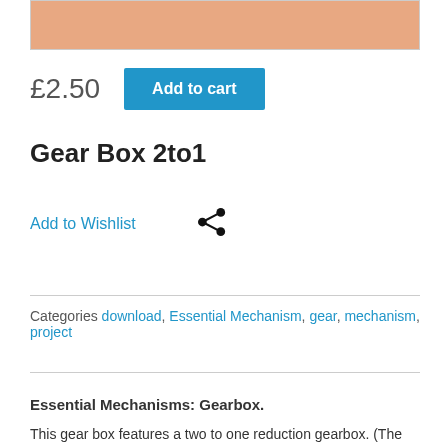[Figure (photo): Partial product image showing a peach/skin-toned background, cropped at top]
£2.50  Add to cart
Gear Box 2to1
Add to Wishlist  [share icon]
Categories download, Essential Mechanism, gear, mechanism, project
Essential Mechanisms: Gearbox.
This gear box features a two to one reduction gearbox. (The